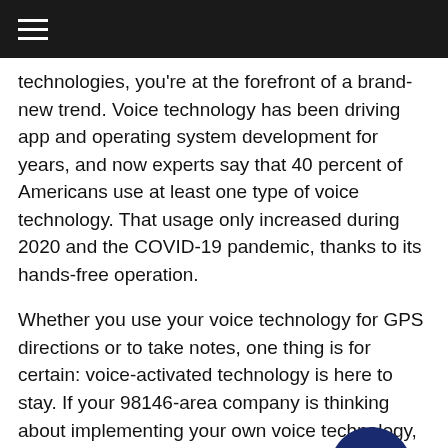technologies, you're at the forefront of a brand-new trend. Voice technology has been driving app and operating system development for years, and now experts say that 40 percent of Americans use at least one type of voice technology. That usage only increased during 2020 and the COVID-19 pandemic, thanks to its hands-free operation.
Whether you use your voice technology for GPS directions or to take notes, one thing is for certain: voice-activated technology is here to stay. If your 98146-area company is thinking about implementing your own voice technology, consider investing in audio documentation equipment.
How voice dictation